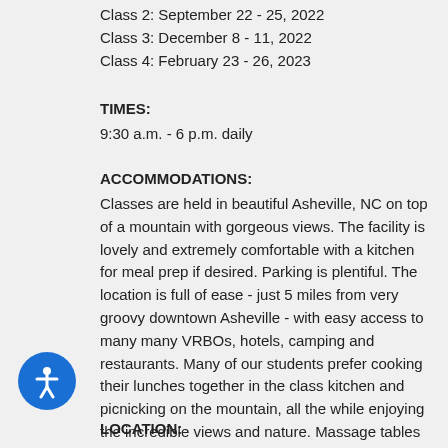Class 2: September 22 - 25, 2022
Class 3: December 8 - 11, 2022
Class 4: February 23 - 26, 2023
TIMES:
9:30 a.m. - 6 p.m. daily
ACCOMMODATIONS:
Classes are held in beautiful Asheville, NC on top of a mountain with gorgeous views. The facility is lovely and extremely comfortable with a kitchen for meal prep if desired. Parking is plentiful. The location is full of ease - just 5 miles from very groovy downtown Asheville - with easy access to many many VRBOs, hotels, camping and restaurants. Many of our students prefer cooking their lunches together in the class kitchen and picnicking on the mountain, all the while enjoying the incredible views and nature. Massage tables are available - so no one has to bring their tables to class.
LOCATION: